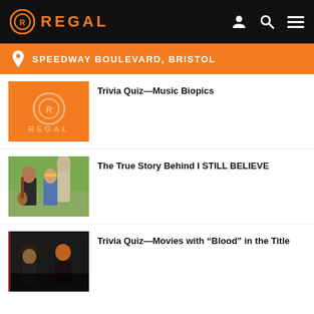REGAL
SPEEDWAY BOULEVARD, BRISTOL
Trivia Quiz—Music Biopics
The True Story Behind I STILL BELIEVE
Trivia Quiz—Movies with "Blood" in the Title